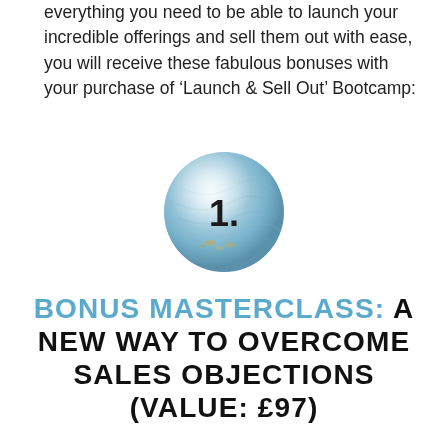everything you need to be able to launch your incredible offerings and sell them out with ease, you will receive these fabulous bonuses with your purchase of ‘Launch & Sell Out’ Bootcamp:
[Figure (illustration): A light blue textured sphere/circle with the number '1.' written in black in the center.]
BONUS MASTERCLASS: A NEW WAY TO OVERCOME SALES OBJECTIONS (VALUE: £97)